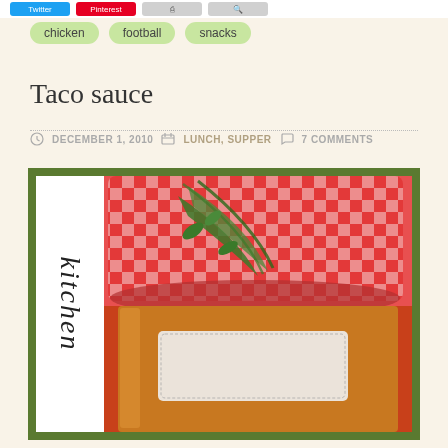[Figure (other): Social sharing buttons: Twitter (blue), Pinterest (red), and two other action buttons]
chicken
football
snacks
Taco sauce
DECEMBER 1, 2010  LUNCH, SUPPER  7 COMMENTS
[Figure (photo): A mason jar of taco sauce with a red and white gingham fabric lid tied with green ribbon, and a white label on the side reading 'kitchen' in cursive script. The jar sits against a dark green background.]